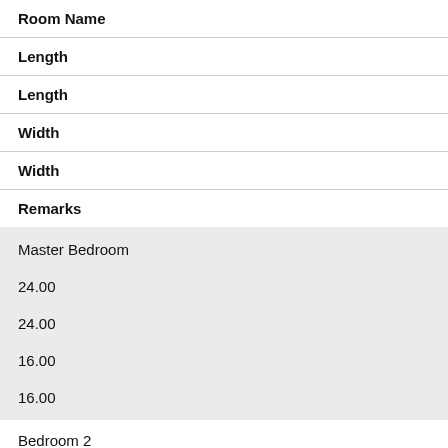| Room Name |  |
| --- | --- |
| Length |  |
| Length |  |
| Width |  |
| Width |  |
| Remarks |  |
| Master Bedroom |  |
| 24.00 |  |
| 24.00 |  |
| 16.00 |  |
| 16.00 |  |
| Bedroom 2 |  |